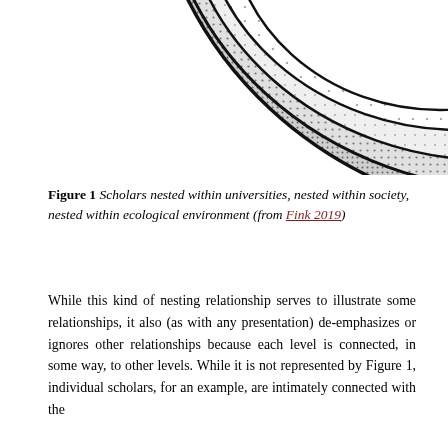[Figure (illustration): Partial view of a nested concentric circles diagram showing scholars nested within universities, nested within society, nested within ecological environment. The top-right portion of the diagram is visible, showing overlapping dotted/stippled regions separated by thick black curved lines.]
Figure 1 Scholars nested within universities, nested within society, nested within ecological environment (from Fink 2019)
While this kind of nesting relationship serves to illustrate some relationships, it also (as with any presentation) de-emphasizes or ignores other relationships because each level is connected, in some way, to other levels. While it is not represented by Figure 1, individual scholars, for an example, are intimately connected with the